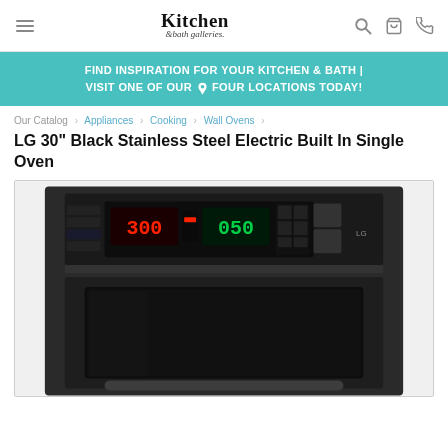Kitchen & Bath Galleries — navigation header with hamburger menu, logo, search, cart, and phone icons
FIND INSPIRATION FOR YOUR KITCHEN & BATH | VISIT ONE OF OUR 📍 FOUR LOCATIONS TODAY!
Our Catalog › Appliances › Cooking › Wall Ovens ›
LG 30" Black Stainless Steel Electric Built In Single Oven
[Figure (photo): Close-up photo of LG 30-inch Black Stainless Steel Electric Built-In Single Oven, showing the control panel with digital display showing 300 and 050, and the oven window below with dark glass]